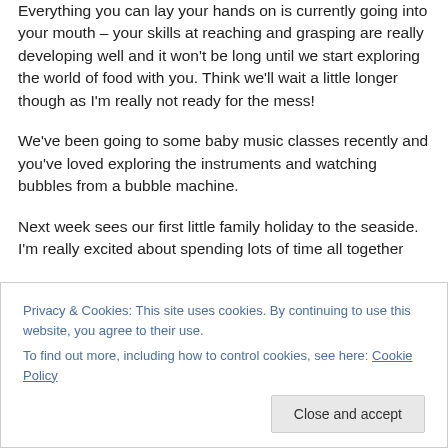Everything you can lay your hands on is currently going into your mouth – your skills at reaching and grasping are really developing well and it won't be long until we start exploring the world of food with you. Think we'll wait a little longer though as I'm really not ready for the mess!
We've been going to some baby music classes recently and you've loved exploring the instruments and watching bubbles from a bubble machine.
Next week sees our first little family holiday to the seaside. I'm really excited about spending lots of time all together
Privacy & Cookies: This site uses cookies. By continuing to use this website, you agree to their use.
To find out more, including how to control cookies, see here: Cookie Policy